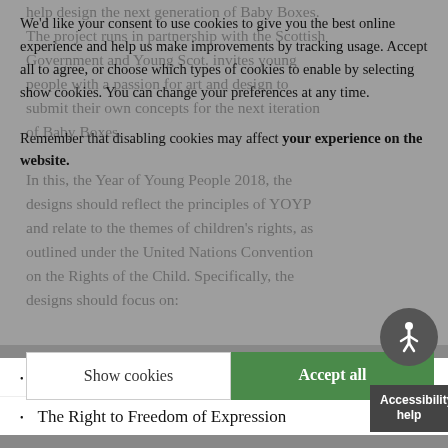help design the next generation of Baby Boxes. The project runs in partnership with the Scottish Government and Young Scot. invites young people with a passion for art and design to submit their own concepts for the next iteration of Baby Boxes.
We'd like your consent to use cookies to give you the best online experience and help us make improvements by tracking usage. Accept all to agree, or choose which types of cookies to enable by selecting show cookies. You can change your preferences at any time. Remember that disabling cookies may affect your experience on the website.
In this, the Year of Young People 2018, the designs should reflect the principles of YOYP and relate to the themes of children's rights, as outlined under the United Nations Convention on the Rights of the Child. Specifically, the designs should focus on:
The Right to Play
The Right to Freedom of Expression